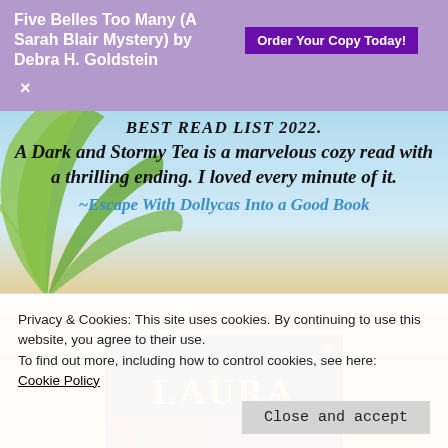Five Belles Too Many (A Sarah Blair Mystery) by Debra H. Goldstein  Order Your Copy Today!  ×
BEST READ LIST 2022.
A Dark and Stormy Tea is a marvelous cozy read with a thrilling ending. I loved every minute of it.
~Escape With Dollycas Into a Good Book
[Figure (photo): Book cover image showing text 'LAURA' in large gold letters on a dark background, with a tea pot graphic in the upper right corner]
Privacy & Cookies: This site uses cookies. By continuing to use this website, you agree to their use.
To find out more, including how to control cookies, see here:
Cookie Policy
Close and accept